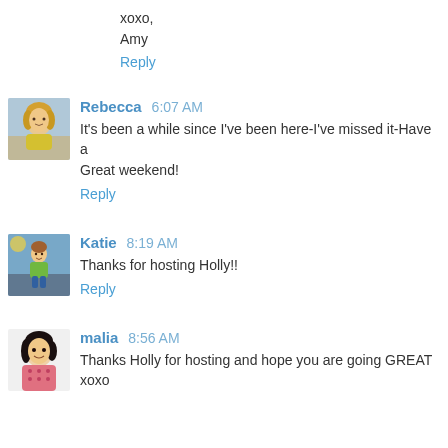xoxo,
Amy
Reply
Rebecca 6:07 AM
It's been a while since I've been here-I've missed it-Have a Great weekend!
Reply
Katie 8:19 AM
Thanks for hosting Holly!!
Reply
malia 8:56 AM
Thanks Holly for hosting and hope you are going GREAT xoxo